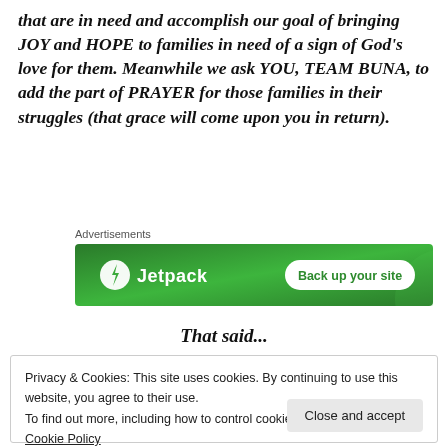that are in need and accomplish our goal of bringing JOY and HOPE to families in need of a sign of God's love for them. Meanwhile we ask YOU, TEAM BUNA, to add the part of PRAYER for those families in their struggles (that grace will come upon you in return).
[Figure (other): Jetpack advertisement banner on green background with 'Back up your site' button]
That said...
Privacy & Cookies: This site uses cookies. By continuing to use this website, you agree to their use.
To find out more, including how to control cookies, see here:
Cookie Policy